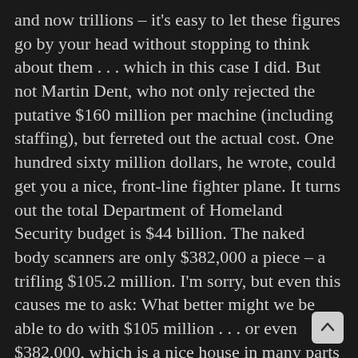and now trillions – it's easy to let these figures go by your head without stopping to think about them . . . which in this case I did. But not Martin Dent, who not only rejected the putative $160 million per machine (including staffing), but ferreted out the actual cost. One hundred sixty million dollars, he wrote, could get you a nice, front-line fighter plane. It turns out the total Department of Homeland Security budget is $44 billion. The naked body scanners are only $382,000 a piece – a trifling $105.2 million. I'm sorry, but even this causes me to ask: What better might we be able to do with $105 million . . . or even $382,000, which is a nice house in many parts of the country?